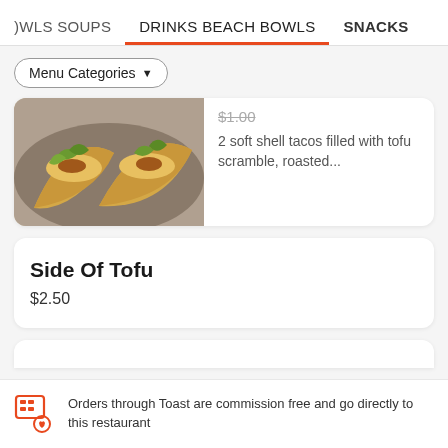OWLS SOUPS   DRINKS BEACH BOWLS   SNACKS
Menu Categories ▼
[Figure (photo): Photo of two soft shell tacos filled with tofu scramble and greens on a plate]
$1.00  2 soft shell tacos filled with tofu scramble, roasted...
Side Of Tofu
$2.50
Orders through Toast are commission free and go directly to this restaurant